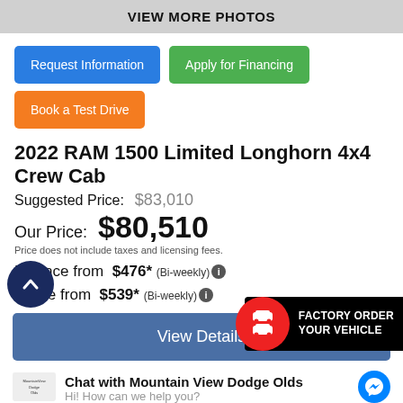VIEW MORE PHOTOS
Request Information
Apply for Financing
Book a Test Drive
2022 RAM 1500 Limited Longhorn 4x4 Crew Cab
Suggested Price: $83,010
Our Price: $80,510
Price does not include taxes and licensing fees.
Finance from $476* (Bi-weekly)
Lease from $539* (Bi-weekly)
[Figure (infographic): Factory Order Your Vehicle badge with red circle containing car icons and black background text]
View Details
Chat with Mountain View Dodge Olds
Hi! How can we help you?
Exterior Colour: White